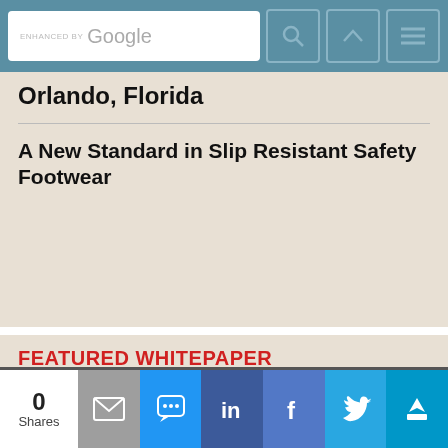ENHANCED BY Google [search bar with icons]
Orlando, Florida
A New Standard in Slip Resistant Safety Footwear
FEATURED WHITEPAPER
Sponsored by Milwaukee Electric Tool Corp.
Calling an Audible
[Figure (other): Milwaukee Electric Tool Corp. whitepaper cover titled 'Calling an Audible' showing document pages with text and industrial image]
0 Shares [email, SMS, LinkedIn, Facebook, Twitter, crown share buttons]